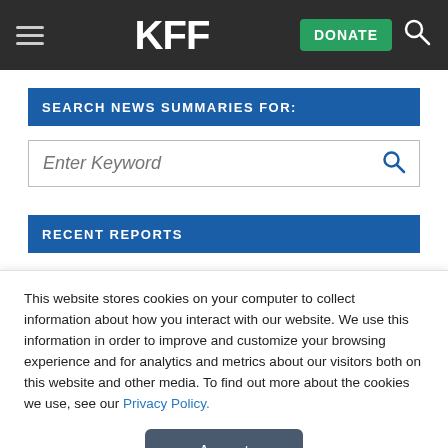KFF — DONATE (button) — Search (icon)
SEARCH NEWS SUMMARIES FOR:
Enter Keyword
RECENT REPORTS
This website stores cookies on your computer to collect information about how you interact with our website. We use this information in order to improve and customize your browsing experience and for analytics and metrics about our visitors both on this website and other media. To find out more about the cookies we use, see our Privacy Policy.
Accept